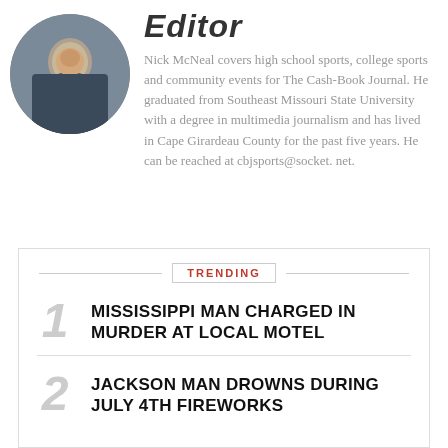[Figure (photo): Circular portrait photo of Nick McNeal, a man wearing a dark sweater]
Editor
Nick McNeal covers high school sports, college sports and community events for The Cash-Book Journal. He graduated from Southeast Missouri State University with a degree in multimedia journalism and has lived in Cape Girardeau County for the past five years. He can be reached at cbjsports@socket.net.
TRENDING
1 MISSISSIPPI MAN CHARGED IN MURDER AT LOCAL MOTEL
2 JACKSON MAN DROWNS DURING JULY 4TH FIREWORKS